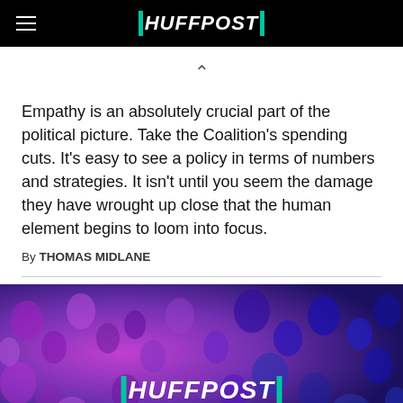HUFFPOST
Empathy is an absolutely crucial part of the political picture. Take the Coalition's spending cuts. It's easy to see a policy in terms of numbers and strategies. It isn't until you seem the damage they have wrought up close that the human element begins to loom into focus.
By THOMAS MIDLANE
[Figure (photo): HuffPost branded image with purple and blue abstract crowd background and HUFFPOST logo in white and teal]